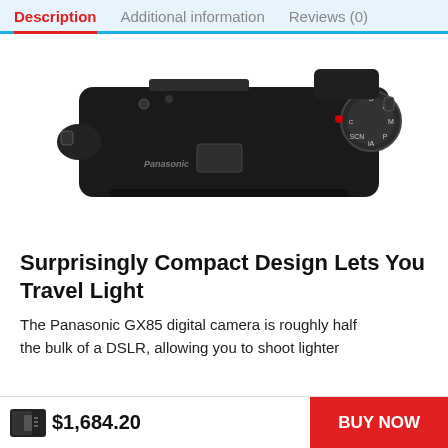Description | Additional information | Reviews (0)
[Figure (photo): Top-down view of a Panasonic GX85 mirrorless digital camera body in black, showing the top controls and mode dial]
Surprisingly Compact Design Lets You Travel Light
The Panasonic GX85 digital camera is roughly half the bulk of a DSLR, allowing you to shoot lighter
$1,684.20
BUY NOW